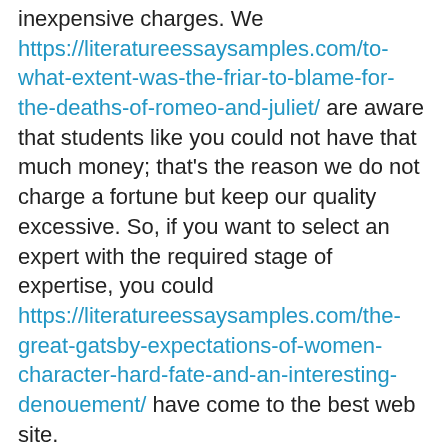inexpensive charges. We https://literatureessaysamples.com/to-what-extent-was-the-friar-to-blame-for-the-deaths-of-romeo-and-juliet/ are aware that students like you could not have that much money; that's the reason we do not charge a fortune but keep our quality excessive. So, if you want to select an expert with the required stage of expertise, you could https://literatureessaysamples.com/the-great-gatsby-expectations-of-women-character-hard-fate-and-an-interesting-denouement/ have come to the best web site.
Choose the paper sort, deadline, the variety of pages, and the difficulty stage. Thereâs